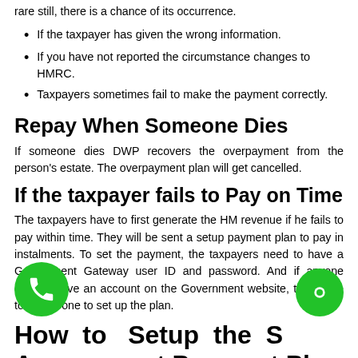rare still, there is a chance of its occurrence.
If the taxpayer has given the wrong information.
If you have not reported the circumstance changes to HMRC.
Taxpayers sometimes fail to make the payment correctly.
Repay When Someone Dies
If someone dies DWP recovers the overpayment from the person's estate. The overpayment plan will get cancelled.
If the taxpayer fails to Pay on Time
The taxpayers have to first generate the HM revenue if he fails to pay within time. They will be sent a setup payment plan to pay in instalments. To set the payment, the taxpayers need to have a Government Gateway user ID and password. And if anyone doesn't have an account on the Government website, they have to create one to set up the plan.
How to Setup the Self Assessment Payment Plan